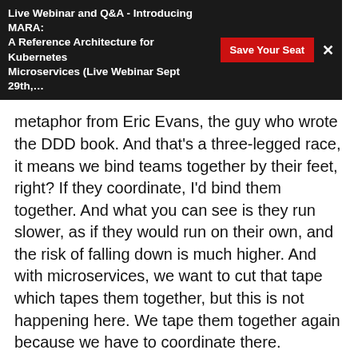Live Webinar and Q&A - Introducing MARA: A Reference Architecture for Kubernetes Microservices (Live Webinar Sept 29th,…
metaphor from Eric Evans, the guy who wrote the DDD book. And that's a three-legged race, it means we bind teams together by their feet, right? If they coordinate, I'd bind them together. And what you can see is they run slower, as if they would run on their own, and the risk of falling down is much higher. And with microservices, we want to cut that tape which tapes them together, but this is not happening here. We tape them together again because we have to coordinate there.
This is not really in the sense of microservices, from my perspective. I even used this picture a lot recently. What I saw in a lot of talks whenever they talk about event-driven systems and choreography, they think it this, and there are they can solve the